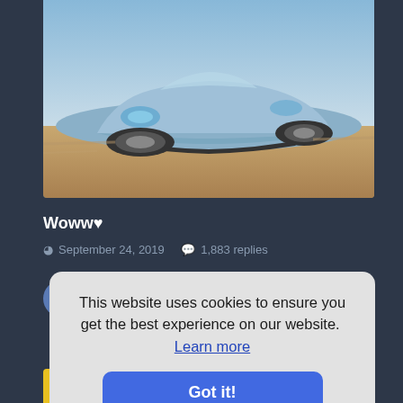[Figure (photo): A silver/blue supercar (front three-quarter view) driving at speed on a road, with motion blur in background and blue sky. Appears to be a McLaren or similar hypercar.]
Woww 🖤
September 24, 2019   1,883 replies
[Figure (screenshot): Cookie consent popup overlay with text: 'This website uses cookies to ensure you get the best experience on our website. Learn more' and a blue 'Got it!' button.]
[Figure (photo): Partially visible colorful image at the bottom of the page.]